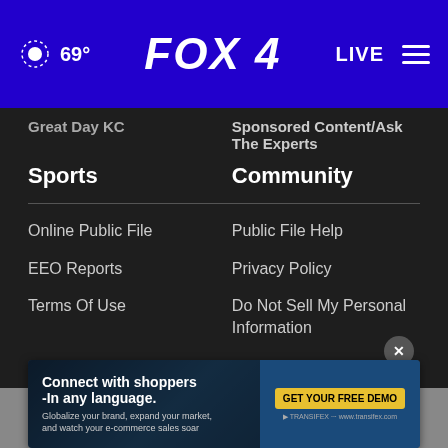69° FOX 4 LIVE
Great Day KC
Sponsored Content/Ask The Experts
Sports
Community
Online Public File
Public File Help
EEO Reports
Privacy Policy
Terms Of Use
Do Not Sell My Personal Information
FCC Applications
Public File Assistance Contact
The Hill
[Figure (screenshot): Advertisement banner: Connect with shoppers -In any language. Globalize your brand, expand your market, and watch your e-commerce sales soar. GET YOUR FREE DEMO button. Transifex logo.]